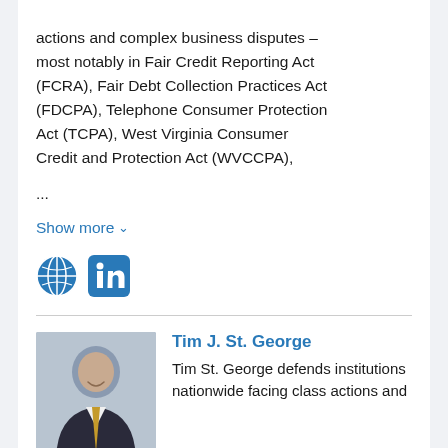actions and complex business disputes – most notably in Fair Credit Reporting Act (FCRA), Fair Debt Collection Practices Act (FDCPA), Telephone Consumer Protection Act (TCPA), West Virginia Consumer Credit and Protection Act (WVCCPA),
...
Show more ∨
[Figure (illustration): Globe icon (website link) and LinkedIn icon buttons]
Tim J. St. George
[Figure (photo): Headshot photo of Tim J. St. George, a man in a dark suit with a striped tie, smiling, with a light blue background]
Tim St. George defends institutions nationwide facing class actions and individual lawsuits. He has particular